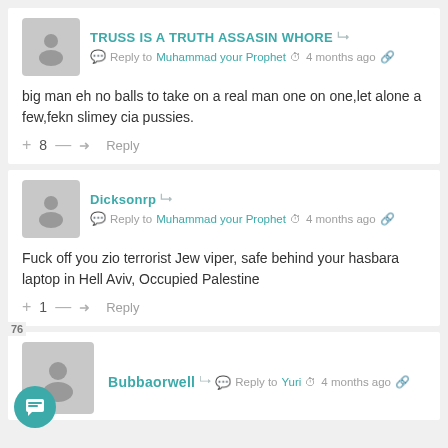TRUSS IS A TRUTH ASSASIN WHORE — Reply to Muhammad your Prophet — 4 months ago
big man eh no balls to take on a real man one on one,let alone a few,fekn slimey cia pussies.
+8 — Reply
Dicksonrp — Reply to Muhammad your Prophet — 4 months ago
Fuck off you zio terrorist Jew viper, safe behind your hasbara laptop in Hell Aviv, Occupied Palestine
+1 — Reply
Bubbaorwell — Reply to Yuri — 4 months ago